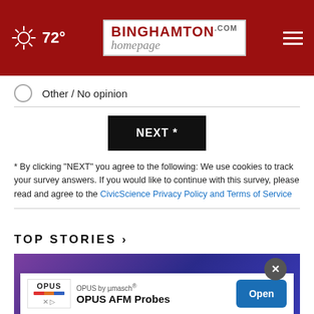72° Binghamtonhomepage.com
Other / No opinion
NEXT *
* By clicking "NEXT" you agree to the following: We use cookies to track your survey answers. If you would like to continue with this survey, please read and agree to the CivicScience Privacy Policy and Terms of Service
TOP STORIES ›
[Figure (photo): Article thumbnail image with purple/blue gradient background and partial white light element visible]
[Figure (infographic): Advertisement overlay: OPUS by µmasch® OPUS AFM Probes with Open button and close X button]